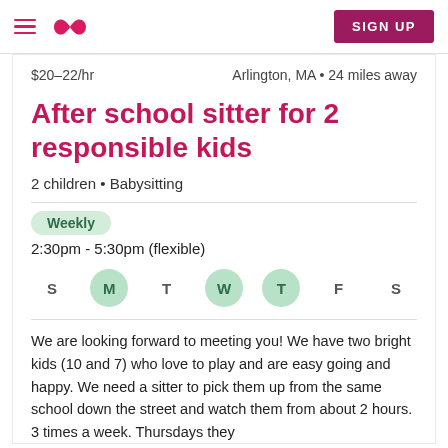Care.com navigation bar with hamburger menu, logo, and SIGN UP button
$20–22/hr    Arlington, MA • 24 miles away
After school sitter for 2 responsible kids
2 children • Babysitting
Weekly  2:30pm - 5:30pm (flexible)  Days: M, W, T active
We are looking forward to meeting you! We have two bright kids (10 and 7) who love to play and are easy going and happy. We need a sitter to pick them up from the same school down the street and watch them from about 2 hours. 3 times a week. Thursdays they...